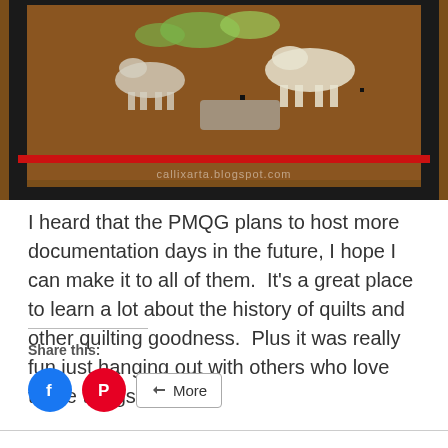[Figure (photo): Close-up of a quilt with brown background featuring animal figures (possibly horses/dogs) in white, green, and other colors, with a red stripe and dark border. A watermark reads 'callixarta.blogspot.com'.]
I heard that the PMQG plans to host more documentation days in the future, I hope I can make it to all of them.  It's a great place to learn a lot about the history of quilts and other quilting goodness.  Plus it was really fun just hanging out with others who love these things.